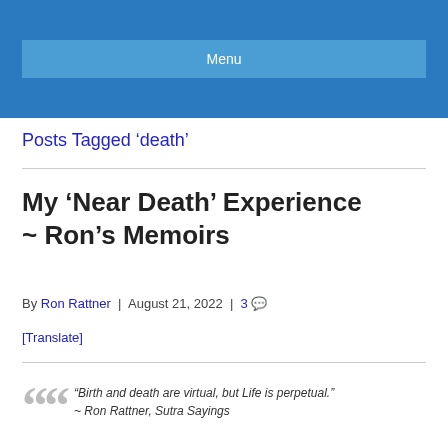Menu
Posts Tagged ‘death’
My ‘Near Death’ Experience ~ Ron’s Memoirs
By Ron Rattner | August 21, 2022 | 3
[Translate]
“Birth and death are virtual, but Life is perpetual.” ~ Ron Rattner, Sutra Sayings